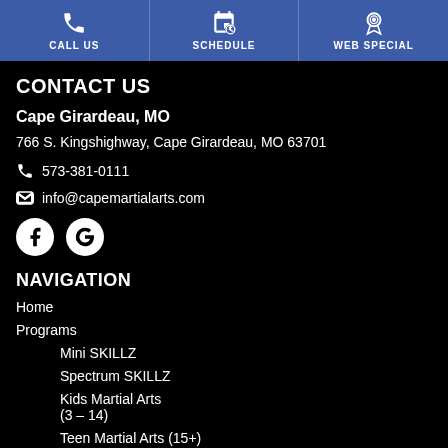CALL US | SCHEDULE | WEB SPECIAL
CONTACT US
Cape Girardeau, MO
766 S. Kingshighway, Cape Girardeau, MO 63701
573-381-0111
info@capemartialarts.com
[Figure (illustration): Facebook and Google social media icons]
NAVIGATION
Home
Programs
Mini SKILLZ
Spectrum SKILLZ
Kids Martial Arts (3 – 14)
Teen Martial Arts (15+)
Adult Enrichment Program
After School...